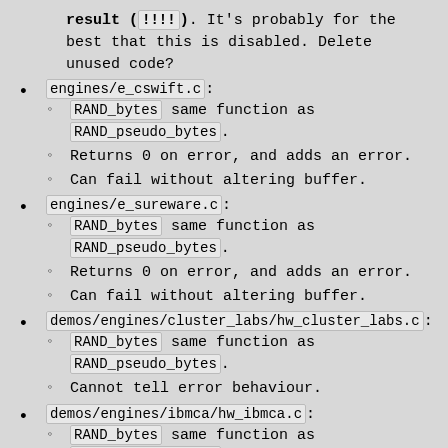result (!!!!) . It's probably for the best that this is disabled. Delete unused code?
engines/e_cswift.c:
RAND_bytes same function as RAND_pseudo_bytes.
Returns 0 on error, and adds an error.
Can fail without altering buffer.
engines/e_sureware.c:
RAND_bytes same function as RAND_pseudo_bytes.
Returns 0 on error, and adds an error.
Can fail without altering buffer.
demos/engines/cluster_labs/hw_cluster_labs.c:
RAND_bytes same function as RAND_pseudo_bytes.
Cannot tell error behaviour.
demos/engines/ibmca/hw_ibmca.c:
RAND_bytes same function as RAND_pseudo_bytes.